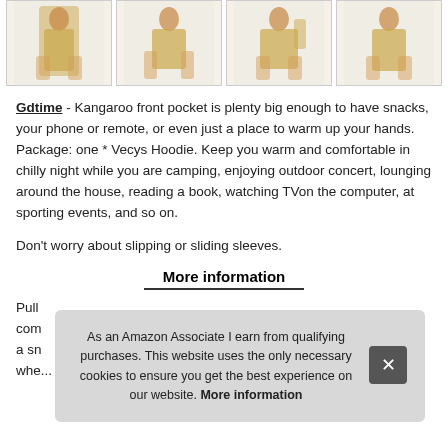[Figure (photo): Four product images of a person wearing a yellow/tan hoodie blanket, shown from different angles, displayed in a horizontal strip with light borders.]
Gdtime - Kangaroo front pocket is plenty big enough to have snacks, your phone or remote, or even just a place to warm up your hands. Package: one * Vecys Hoodie. Keep you warm and comfortable in chilly night while you are camping, enjoying outdoor concert, lounging around the house, reading a book, watching TV​on the computer, at sporting events, and so on.
Don't worry about slipping or sliding sleeves.
More information
Pull...com...a sn...whe...
As an Amazon Associate I earn from qualifying purchases. This website uses the only necessary cookies to ensure you get the best experience on our website. More information